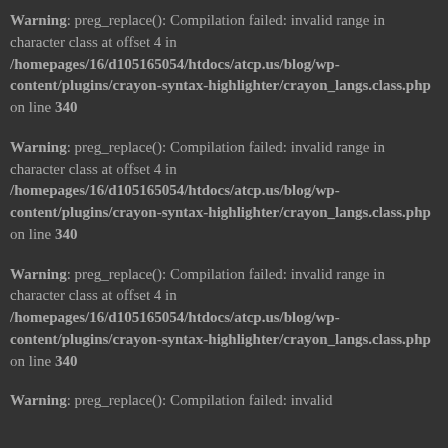Warning: preg_replace(): Compilation failed: invalid range in character class at offset 4 in /homepages/16/d105165054/htdocs/atcp.us/blog/wp-content/plugins/crayon-syntax-highlighter/crayon_langs.class.php on line 340
Warning: preg_replace(): Compilation failed: invalid range in character class at offset 4 in /homepages/16/d105165054/htdocs/atcp.us/blog/wp-content/plugins/crayon-syntax-highlighter/crayon_langs.class.php on line 340
Warning: preg_replace(): Compilation failed: invalid range in character class at offset 4 in /homepages/16/d105165054/htdocs/atcp.us/blog/wp-content/plugins/crayon-syntax-highlighter/crayon_langs.class.php on line 340
Warning: preg_replace(): Compilation failed: invalid